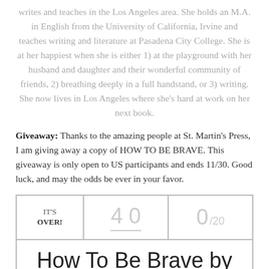writes and teaches in the Los Angeles area. She holds an M.A. in English from the University of California, Irvine and teaches writing and literature at Pasadena City College. She is at her happiest when she is either 1) at the playground with her husband and daughter and their wonderful community of friends, 2) breathing deeply in a full handstand, or 3) writing. She now lives in Los Angeles where she's hard at work on her next book.
Giveaway: Thanks to the amazing people at St. Martin's Press, I am giving away a copy of HOW TO BE BRAVE. This giveaway is only open to US participants and ends 11/30. Good luck, and may the odds be ever in your favor.
| IT'S OVER! | 4 0 | 0/20 |
| --- | --- | --- |
| How To Be Brave by E. Katherine Kottaras |  |  |